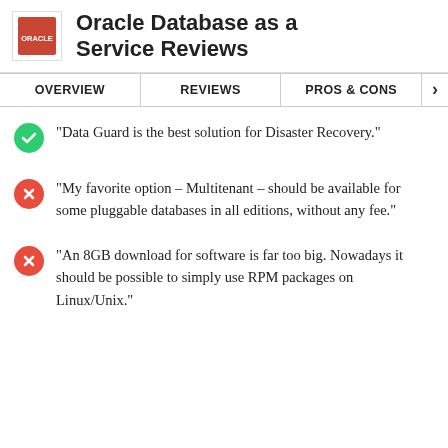Oracle Database as a Service Reviews
OVERVIEW | REVIEWS | PROS & CONS
"Data Guard is the best solution for Disaster Recovery."
"My favorite option – Multitenant – should be available for some pluggable databases in all editions, without any fee."
"An 8GB download for software is far too big. Nowadays it should be possible to simply use RPM packages on Linux/Unix."